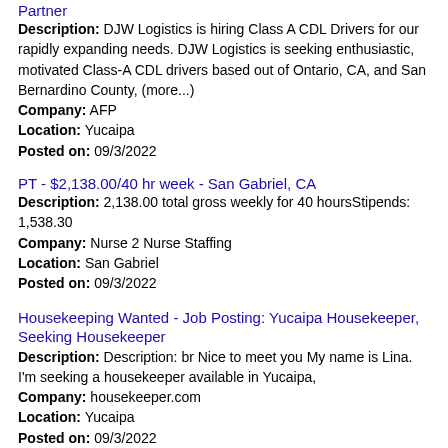Partner
Description: DJW Logistics is hiring Class A CDL Drivers for our rapidly expanding needs. DJW Logistics is seeking enthusiastic, motivated Class-A CDL drivers based out of Ontario, CA, and San Bernardino County, (more...)
Company: AFP
Location: Yucaipa
Posted on: 09/3/2022
PT - $2,138.00/40 hr week - San Gabriel, CA
Description: 2,138.00 total gross weekly for 40 hoursStipends: 1,538.30
Company: Nurse 2 Nurse Staffing
Location: San Gabriel
Posted on: 09/3/2022
Housekeeping Wanted - Job Posting: Yucaipa Housekeeper, Seeking Housekeeper
Description: Description: br Nice to meet you My name is Lina. I'm seeking a housekeeper available in Yucaipa,
Company: housekeeper.com
Location: Yucaipa
Posted on: 09/3/2022